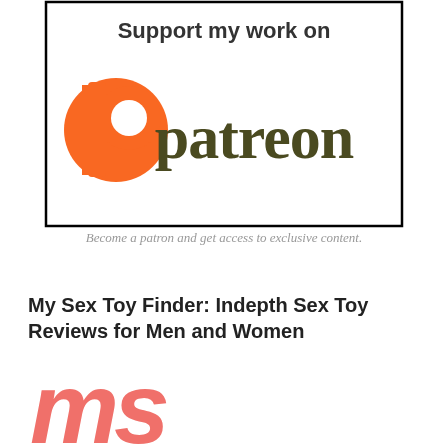[Figure (logo): Patreon logo with text 'Support my work on patreon' inside a black border rectangle. Orange Patreon icon on left, dark olive green 'patreon' text on right.]
Become a patron and get access to exclusive content.
My Sex Toy Finder: Indepth Sex Toy Reviews for Men and Women
[Figure (logo): Handwritten-style logo in coral/salmon color showing 'ms tf' letters in a casual script font]